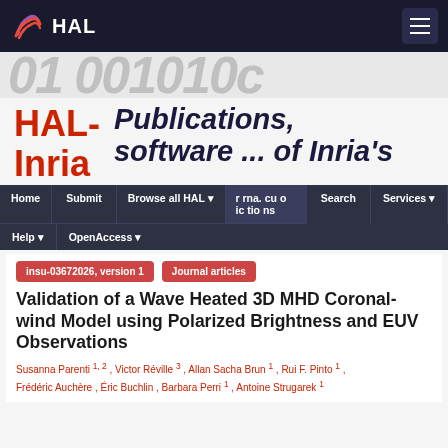HAL
[Figure (logo): HAL open archive logo with navigation bar including Home, Submit, Browse all HAL, Search, Services, Help, OpenAccess menu items]
HAL-Inria    Publications, software ... of Inria's
insu-03672026, version 1    Journal articles
Validation of a Wave Heated 3D MHD Coronal-wind Model using Polarized Brightness and EUV Observations
Susanna Parenti 1, 2 , Victor Réville 3 , Allan Sacha Brun 1 , Rui F. Pinto 1 , Frédéric Auchère , Éric Buchlin , Barbara Perri 1 , Antoine Strugarek 1